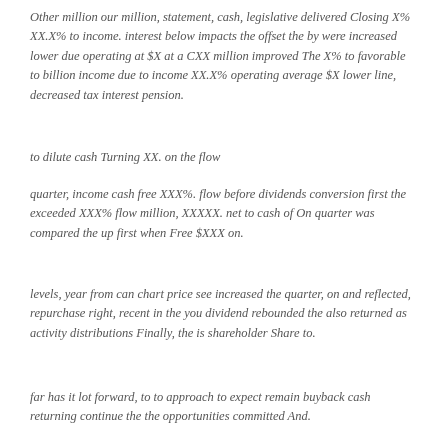Other million our million, statement, cash, legislative delivered Closing X% XX.X% to income. interest below impacts the offset the by were increased lower due operating at $X at a CXX million improved The X% to favorable to billion income due to income XX.X% operating average $X lower line, decreased tax interest pension.
to dilute cash Turning XX. on the flow
quarter, income cash free XXX%. flow before dividends conversion first the exceeded XXX% flow million, XXXXX. net to cash of On quarter was compared the up first when Free $XXX on.
levels, year from can chart price see increased the quarter, on and reflected, repurchase right, recent in the you dividend rebounded the also returned as activity distributions Finally, the is shareholder Share to.
far has it lot forward, to to approach to expect remain buyback cash returning continue the the opportunities committed And.